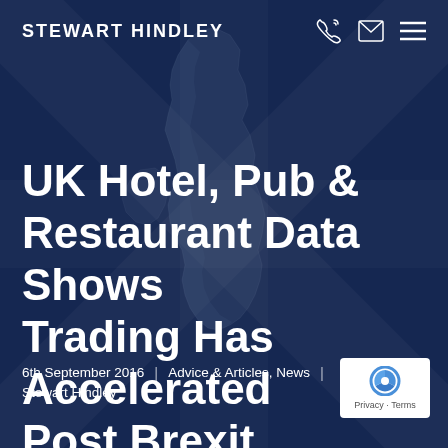STEWART HINDLEY
[Figure (illustration): Dark navy blue background with a faded UK map and Union Jack flag overlay]
UK Hotel, Pub & Restaurant Data Shows Trading Has Accelerated Post Brexit
6th September 2016  |  Advice & Articles, News  |
Stewart Hindley